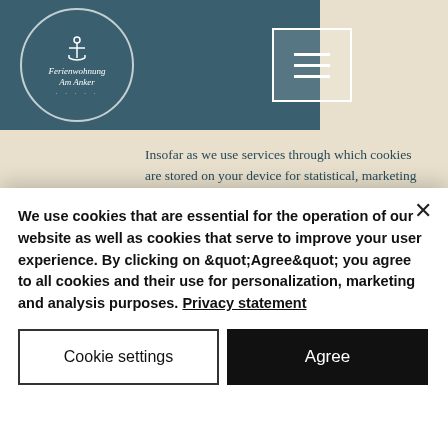Ferienwohnung Am Anker [logo with anchor]
Insofar as we use services through which cookies are stored on your device for statistical, marketing and personalization purposes, we will inform you separately in the following sections of our data protection declaration or in the context of obtaining your consent.
Affected data:
Usage data (e.g. access times, websites...
We use cookies that are essential for the operation of our website as well as cookies that serve to improve your user experience. By clicking on &quot;Agree&quot; you agree to all cookies and their use for personalization, marketing and analysis purposes. Privacy statement